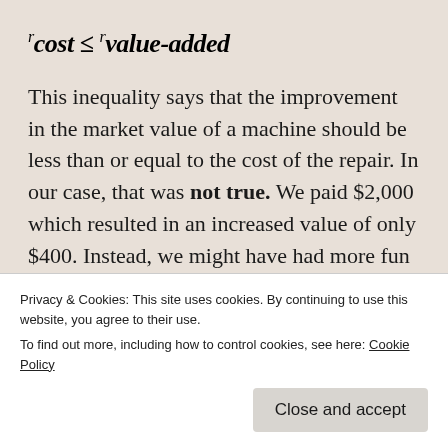This inequality says that the improvement in the market value of a machine should be less than or equal to the cost of the repair. In our case, that was not true. We paid $2,000 which resulted in an increased value of only $400. Instead, we might have had more fun losing it at a casino, or created an art film of
Privacy & Cookies: This site uses cookies. By continuing to use this website, you agree to their use. To find out more, including how to control cookies, see here: Cookie Policy